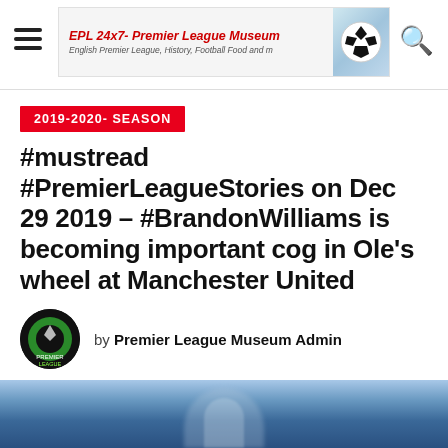EPL 24x7 - Premier League Museum | English Premier League, History, Football Food and more
2019-2020-SEASON
#mustread #PremierLeagueStories on Dec 29 2019 – #BrandonWilliams is becoming important cog in Ole's wheel at Manchester United
by Premier League Museum Admin
December 29, 2019
[Figure (photo): Partial photo of a football player, blurred blue background]